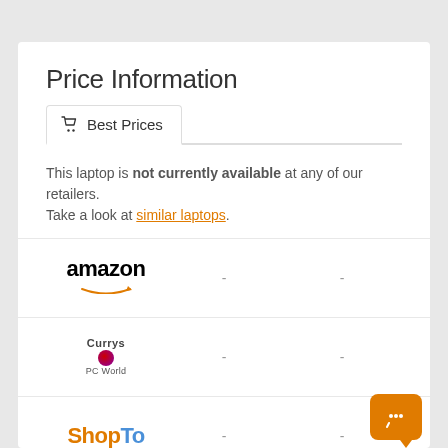Price Information
Best Prices
This laptop is not currently available at any of our retailers. Take a look at similar laptops.
| Retailer |  |  |
| --- | --- | --- |
| amazon | - | - |
| Currys PC World | - | - |
| ShopTo | - | - |
| newegg | - | - |